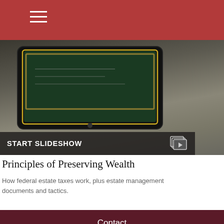[Figure (screenshot): Screenshot of a tablet displaying a financial presentation on a dark background with a START SLIDESHOW label and slideshow icon overlay at the bottom.]
Principles of Preserving Wealth
How federal estate taxes work, plus estate management documents and tactics.
Contact
Office: 609-750-0002
Fax: 609-750-0034
54 Route 31 N 1st Floor
Pennington, NJ 08534
liz@scafafinancial.com